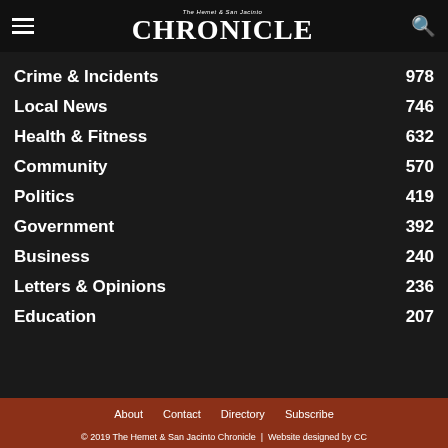The Hemet & San Jacinto Chronicle
Crime & Incidents 978
Local News 746
Health & Fitness 632
Community 570
Politics 419
Government 392
Business 240
Letters & Opinions 236
Education 207
About   Contact   Directory   Subscribe
© 2019 The Hemet & San Jacinto Chronicle  |  Website designed by CC